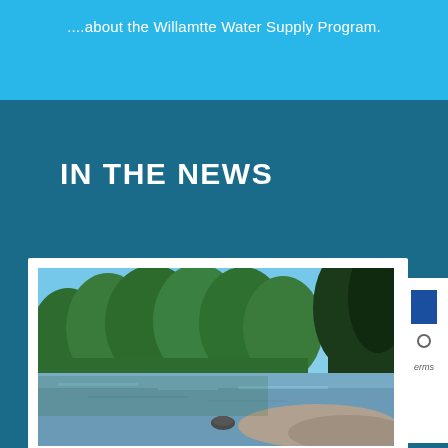....about the Willamtte Water Supply Program.
IN THE NEWS
[Figure (photo): Photograph of the Willamette River with forested banks and a rocky shoreline under a clear blue sky.]